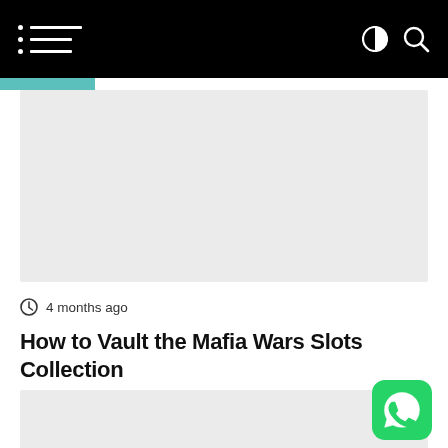Navigation bar with hamburger menu, contrast toggle, and search icon
[Figure (screenshot): Gray placeholder image block at top of article]
4 months ago
How to Vault the Mafia Wars Slots Collection
[Figure (screenshot): Gray placeholder image block below article title]
[Figure (logo): WhatsApp floating action button in bottom right corner]